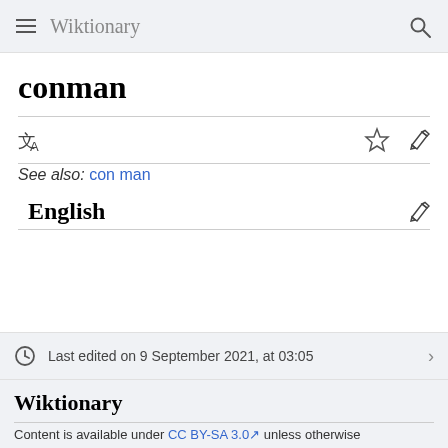Wiktionary
conman
See also: con man
English
Last edited on 9 September 2021, at 03:05
Wiktionary
Content is available under CC BY-SA 3.0 unless otherwise